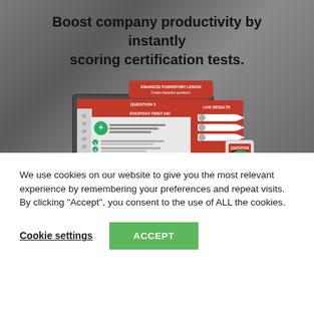Boost company productivity by instantly scoring certification tests.
[Figure (screenshot): Screenshot of an interactive PowerPoint lesson tool showing a monitor with a quiz about Everyday First Aid and a live results panel, with a remote control device.]
We use cookies on our website to give you the most relevant experience by remembering your preferences and repeat visits. By clicking “Accept”, you consent to the use of ALL the cookies.
Cookie settings
ACCEPT